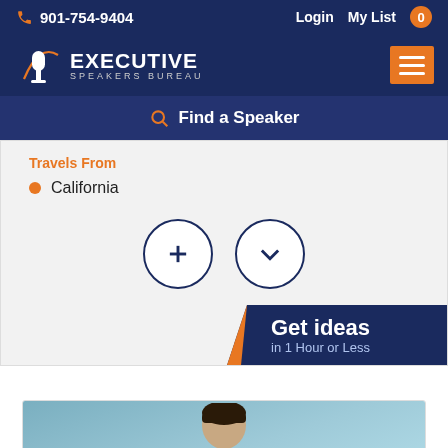901-754-9404  Login  My List 0
[Figure (logo): Executive Speakers Bureau logo with microphone icon and orange arc]
Find a Speaker
Travels From
California
[Figure (infographic): Two circular buttons: plus icon and checkmark/chevron icon]
[Figure (infographic): Get ideas in 1 Hour or Less banner with orange accent]
[Figure (photo): Partial photo of a person with dark hair against a blue background]